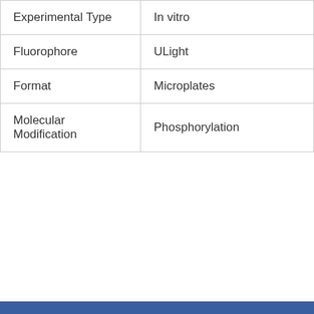| Experimental Type | In vitro |
| Fluorophore | ULight |
| Format | Microplates |
| Molecular Modification | Phosphorylation |
| Product Brand | LANCE Ultra |
| Shipping Condition | Dry Ice |
| Unit Size | 0.5 nmol |
PerkinElmer uses cookies to ensure that we give you the best experience possible on our website. This may include cookies from third party websites. If you continue without changing your settings, we will assume that you consent to receive cookies from this website. You can change your cookie settings at any time. To learn more, please review our cookie policy, which includes information on how to manage your cookies.
CONTINUE
Resources, Events & More